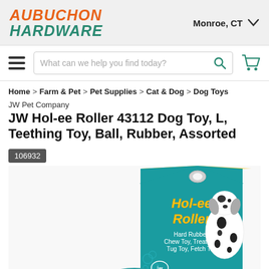AUBUCHON HARDWARE | Monroe, CT
What can we help you find today?
Home > Farm & Pet > Pet Supplies > Cat & Dog > Dog Toys
JW Pet Company
JW Hol-ee Roller 43112 Dog Toy, L, Teething Toy, Ball, Rubber, Assorted
106932
[Figure (photo): Product packaging of JW Hol-ee Roller dog toy showing teal/blue box with yellow house shape, 'Hol-ee Roller' text, and Dalmatian dog illustration. Text reads: Hard Rubber, Chew Toy, Treat Toy, Tug Toy, Fetch Toy. TOUGH BY NATURE.]